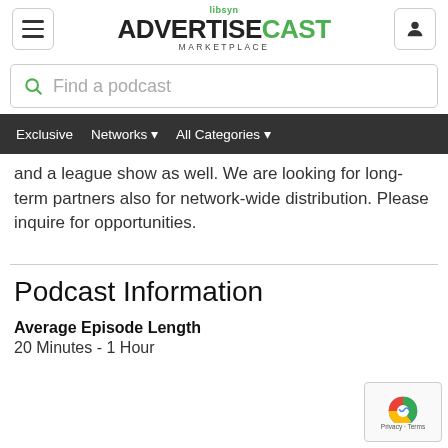libsyn ADVERTISECAST MARKETPLACE
Find a podcast
Exclusive   Networks   All Categories
and a league show as well. We are looking for long-term partners also for network-wide distribution. Please inquire for opportunities.
Podcast Information
Average Episode Length
20 Minutes - 1 Hour